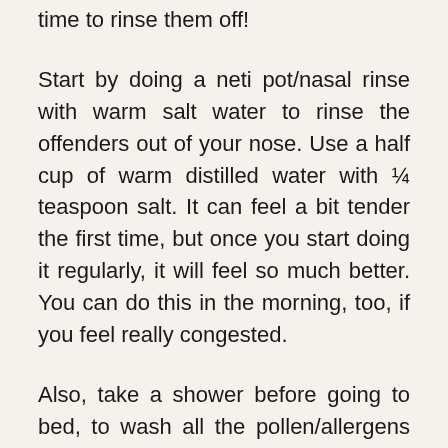time to rinse them off!
Start by doing a neti pot/nasal rinse with warm salt water to rinse the offenders out of your nose. Use a half cup of warm distilled water with ¼ teaspoon salt. It can feel a bit tender the first time, but once you start doing it regularly, it will feel so much better. You can do this in the morning, too, if you feel really congested.
Also, take a shower before going to bed, to wash all the pollen/allergens out of your hair and off your body/ Also, wear clean PJs to bed. You don't want to take